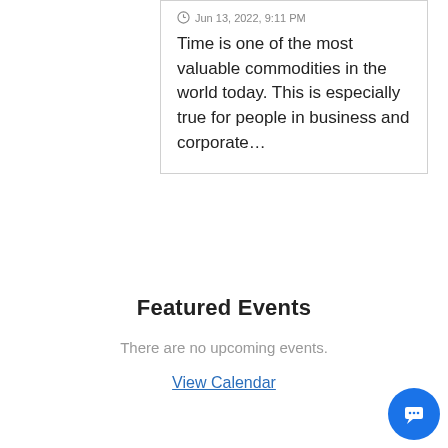Jun 13, 2022, 9:11 PM
Time is one of the most valuable commodities in the world today. This is especially true for people in business and corporate…
Featured Events
There are no upcoming events.
View Calendar